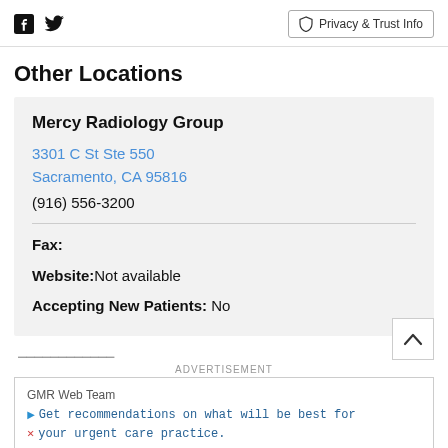Facebook Twitter | Privacy & Trust Info
Other Locations
Mercy Radiology Group
3301 C St Ste 550
Sacramento, CA 95816
(916) 556-3200
Fax:
Website: Not available
Accepting New Patients: No
[Figure (screenshot): Advertisement box from GMR Web Team: 'Get recommendations on what will be best for your urgent care practice.']